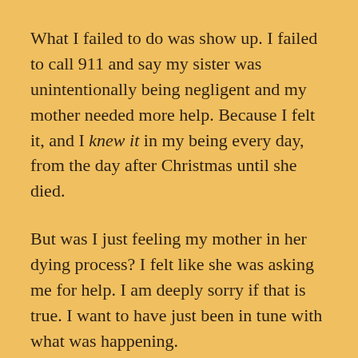What I failed to do was show up. I failed to call 911 and say my sister was unintentionally being negligent and my mother needed more help. Because I felt it, and I knew it in my being every day, from the day after Christmas until she died.
But was I just feeling my mother in her dying process? I felt like she was asking me for help. I am deeply sorry if that is true. I want to have just been in tune with what was happening.
My sister's friend and tenant upstairs had a sweet relationship with my mother. She told me that on New Year's day – before she had heard the news of my mother's passing – that